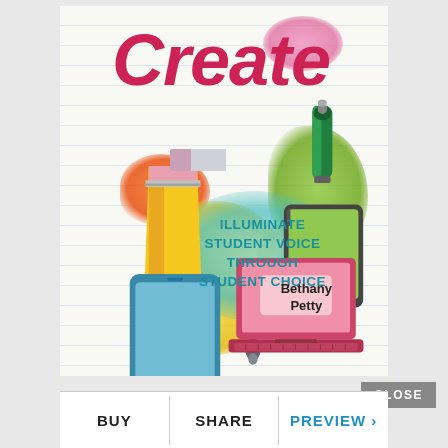[Figure (illustration): Book cover for 'Create: Illuminate Student Voice Through Student Choice' by Bethany Petty. Colorful illustrated cover showing school supplies (pencil, eraser, paint tube, paintbrush), digital devices (tablet, laptop, smartphone), and colorful paint splashes on a lined notebook paper background.]
Create
ILLUMINATE STUDENT VOICE THROUGH STUDENT CHOICE
Bethany Petty
CLOSE
BUY
SHARE
PREVIEW